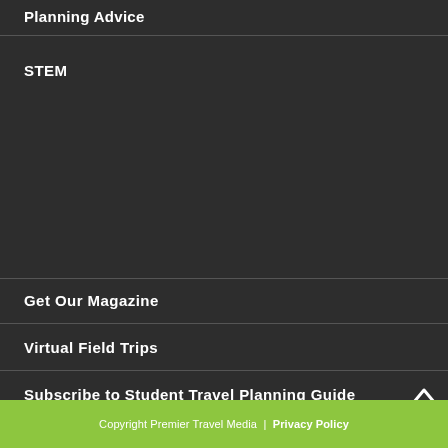Planning Advice
STEM
Get Our Magazine
Virtual Field Trips
Subscribe to Student Travel Planning Guide
Copyright Premier Travel Media | Privacy Policy